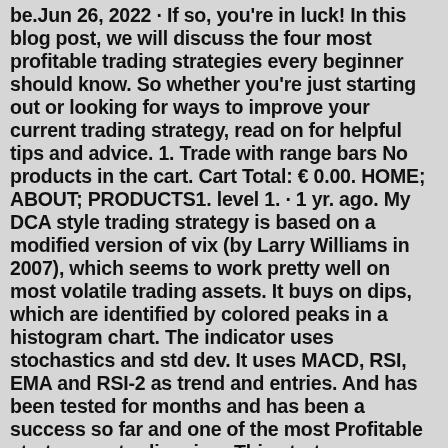be.Jun 26, 2022 · If so, you're in luck! In this blog post, we will discuss the four most profitable trading strategies every beginner should know. So whether you're just starting out or looking for ways to improve your current trading strategy, read on for helpful tips and advice. 1. Trade with range bars No products in the cart. Cart Total: € 0.00. HOME; ABOUT; PRODUCTS1. level 1. · 1 yr. ago. My DCA style trading strategy is based on a modified version of vix (by Larry Williams in 2007), which seems to work pretty well on most volatile trading assets. It buys on dips, which are identified by colored peaks in a histogram chart. The indicator uses stochastics and std dev. It uses MACD, RSI, EMA and RSI-2 as trend and entries. And has been tested for months and has been a success so far and one of the most Profitable strategy on tradingview. This strategy uses MACD and RSI in higher TF where the codes are such you will not find any repaint or bug as the security function is not used in this strategy. May 09, 2021 · My easiest strategy is a trend following EA I made